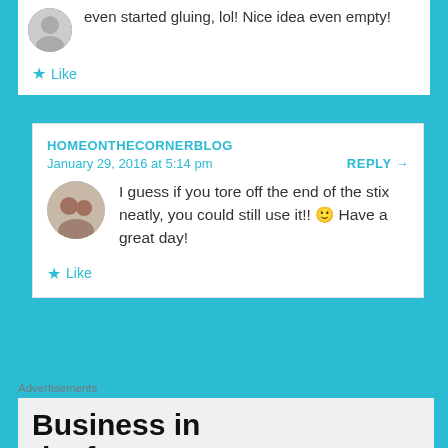even started gluing, lol! Nice idea even empty!
Like
HOMEONTHECORNERBLOG
January 29, 2016 at 5:14 pm
REPLY →
I guess if you tore off the end of the stix neatly, you could still use it!! 🙂 Have a great day!
Like
Advertisements
Business in the front